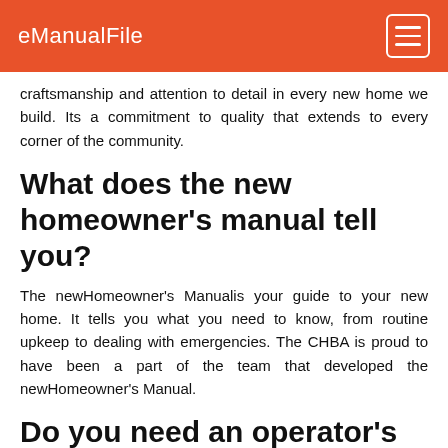eManualFile
craftsmanship and attention to detail in every new home we build. Its a commitment to quality that extends to every corner of the community.
What does the new homeowner's manual tell you?
The newHomeowner's Manualis your guide to your new home. It tells you what you need to know, from routine upkeep to dealing with emergencies. The CHBA is proud to have been a part of the team that developed the newHomeowner's Manual.
Do you need an operator's manual for a new home?
“Your new car comes with an operator’s manual, and the Canadian Home Builders’ Association (CHBA) believes your new home should come with an operator’s manual too. The newHomeowner’s Manualis your guide to your new home. It tells you what you need to know, from routine upkeep to dealing with emergencies.